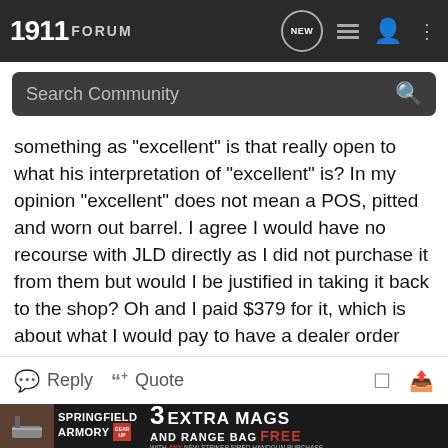1911 FORUM
Search Community
something as "excellent" is that really open to what his interpretation of "excellent" is? In my opinion "excellent" does not mean a POS, pitted and worn out barrel. I agree I would have no recourse with JLD directly as I did not purchase it from them but would I be justified in taking it back to the shop? Oh and I paid $379 for it, which is about what I would pay to have a dealer order one for me(if they would even agree to do it) in this crappy state! Anyone know a good shop in SoCal that will order stuff for you at a reasonable price?
Thanks everyone for the help.
Reply  Quote
[Figure (other): Springfield Armory advertisement banner: 3 EXTRA MAGS AND RANGE BAG FREE with any new striker fired handgun purchase]